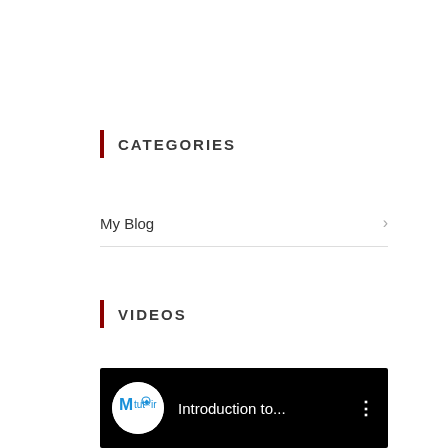CATEGORIES
My Blog
VIDEOS
[Figure (screenshot): Video thumbnail with black background showing a circular logo with 'Mtut.ir' and the text 'Introduction to...' with a three-dot menu icon]